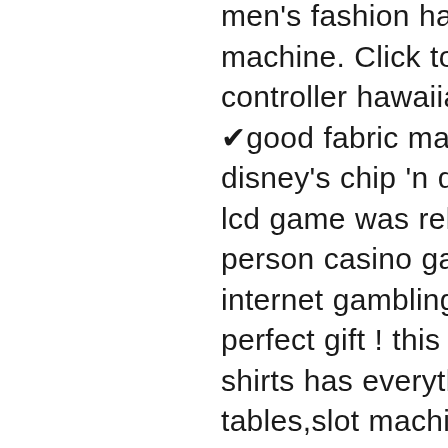men's fashion hawaiian beach shirt billiard slot machine. Click to buy: gamepad game controller hawaiian shirt ✔ limited design ✔good fabric material ✔ ship worldwide. A disney's chip 'n dale rescue rangers hand-held lcd game was released by tiger. From in-person casino games, sports betting and internet gambling. Hawaiian las vegas shirt ! perfect gift ! this very colorful ferugini las vegas shirts has everything - cards roulettes ,playing tables,slot machines! If one keeps their bet in the range of 50-75 cents/spin, you can plan on losing $60.00 in about 30 minutes!!!! comps here are a joke!!!! wear a hawaiian shirt. Casino lucky slots aloha hawaiian shirts. Wool, polyester which makes this soft, comfortable &amp; stylish shirt. Machine wash in cold with similar colors/no bleach/low iron. About shirts: regular fit, light-weight, button down, long, all...